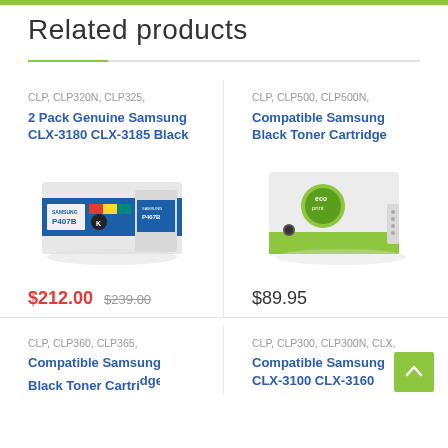Related products
CLP, CLP320N, CLP325,
2 Pack Genuine Samsung CLX-3180 CLX-3185 Black
[Figure (photo): Samsung P407B black toner cartridge box, white and blue packaging]
$212.00  $239.00
CLP, CLP500, CLP500N,
Compatible Samsung Black Toner Cartridge
[Figure (photo): White and green ecoprint compatible toner cartridge box]
$89.95
CLP, CLP360, CLP365,
Compatible Samsung Black Toner Cartridge
CLP, CLP300, CLP300N, CLX,
Compatible Samsung CLX-3100 CLX-3160